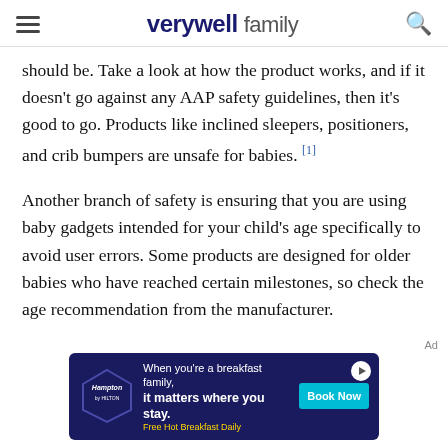verywell family
should be. Take a look at how the product works, and if it doesn't go against any AAP safety guidelines, then it's good to go. Products like inclined sleepers, positioners, and crib bumpers are unsafe for babies. [1]
Another branch of safety is ensuring that you are using baby gadgets intended for your child's age specifically to avoid user errors. Some products are designed for older babies who have reached certain milestones, so check the age recommendation from the manufacturer.
Helpfulness
[Figure (screenshot): Hampton by Hilton advertisement banner: 'When you're a breakfast family, it matters where you stay. Book Now. Free Hot Breakfast Daily.']